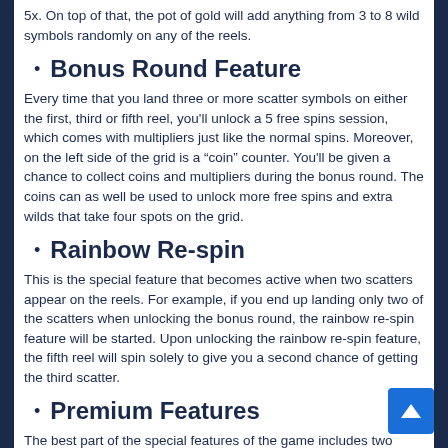5x. On top of that, the pot of gold will add anything from 3 to 8 wild symbols randomly on any of the reels.
Bonus Round Feature
Every time that you land three or more scatter symbols on either the first, third or fifth reel, you'll unlock a 5 free spins session, which comes with multipliers just like the normal spins. Moreover, on the left side of the grid is a “coin” counter. You'll be given a chance to collect coins and multipliers during the bonus round. The coins can as well be used to unlock more free spins and extra wilds that take four spots on the grid.
Rainbow Re-spin
This is the special feature that becomes active when two scatters appear on the reels. For example, if you end up landing only two of the scatters when unlocking the bonus round, the rainbow re-spin feature will be started. Upon unlocking the rainbow re-spin feature, the fifth reel will spin solely to give you a second chance of getting the third scatter.
Premium Features
The best part of the special features of the game includes the two premium features: the Foxify feature and the Buy Free Spins feature; going for 50% and 50 times your total bet...